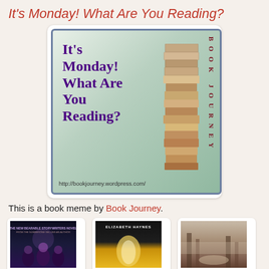It's Monday! What Are You Reading?
[Figure (illustration): Book Journey meme banner image showing 'It's Monday! What Are You Reading?' text in purple on a green gradient background with a stack of books on the right side and 'BOOK JOURNEY' written vertically. URL http://bookjourney.wordpress.com/ shown at bottom.]
This is a book meme by Book Journey.
[Figure (photo): Three book cover thumbnails shown in a row at the bottom of the page]
[Figure (photo): Second book cover - Elizabeth Haynes book with dark cover and bright light]
[Figure (photo): Third book cover - misty forest scene]